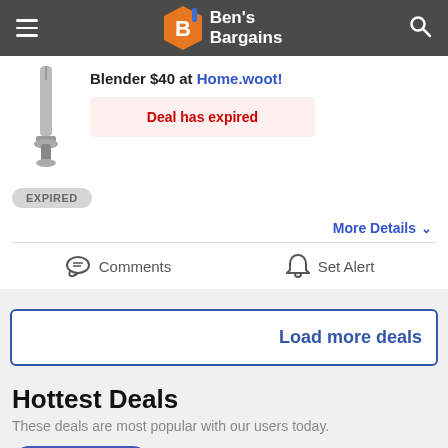Ben's Bargains
Blender $40 at Home.woot!
Deal has expired
EXPIRED
More Details
Comments
Set Alert
Load more deals
Hottest Deals
These deals are most popular with our users today.
See All Deals